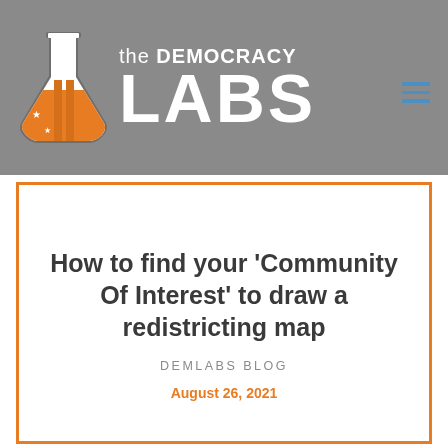[Figure (logo): The Democracy Labs logo: orange and white laboratory flask icon on left, white text reading 'the DEMOCRACY LABS' on right, with blue hamburger menu icon in top right corner, all on grey background]
How to find your 'Community Of Interest' to draw a redistricting map
DEMLABS BLOG
August 26, 2021